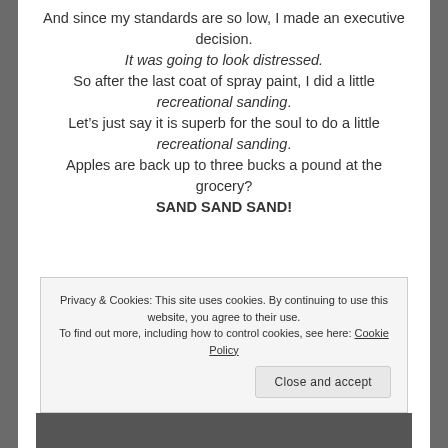And since my standards are so low, I made an executive decision. It was going to look distressed. So after the last coat of spray paint, I did a little recreational sanding. Let's just say it is superb for the soul to do a little recreational sanding. Apples are back up to three bucks a pound at the grocery? SAND SAND SAND!
Privacy & Cookies: This site uses cookies. By continuing to use this website, you agree to their use. To find out more, including how to control cookies, see here: Cookie Policy
[Figure (photo): Bottom strip showing a dark surface and yellow/wood colored object at the edge of the page]